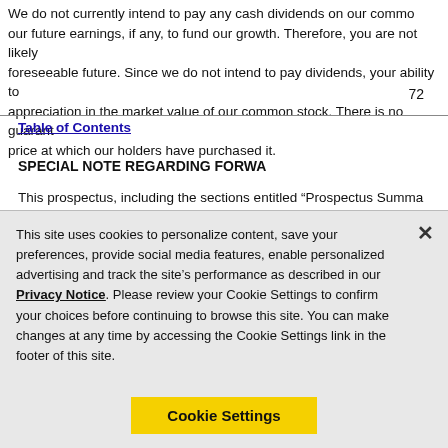We do not currently intend to pay any cash dividends on our common stock and intend to retain our future earnings, if any, to fund our growth. Therefore, you are not likely to receive any dividends for the foreseeable future. Since we do not intend to pay dividends, your ability to receive a return on your investment will depend on appreciation in the market value of our common stock. There is no guarantee that our common stock will trade at or above the price at which our holders have purchased it.
72
Table of Contents
SPECIAL NOTE REGARDING FORWA
This prospectus, including the sections entitled “Prospectus Summa
This site uses cookies to personalize content, save your preferences, provide social media features, enable personalized advertising and track the site’s performance as described in our Privacy Notice. Please review your Cookie Settings to confirm your choices before continuing to browse this site. You can make changes at any time by accessing the Cookie Settings link in the footer of this site.
Cookie Settings